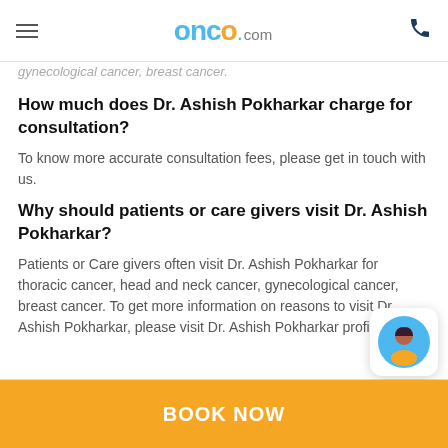onco.com
gynecological cancer, breast cancer.
How much does Dr. Ashish Pokharkar charge for consultation?
To know more accurate consultation fees, please get in touch with us.
Why should patients or care givers visit Dr. Ashish Pokharkar?
Patients or Care givers often visit Dr. Ashish Pokharkar for thoracic cancer, head and neck cancer, gynecological cancer, breast cancer. To get more information on reasons to visit Dr. Ashish Pokharkar, please visit Dr. Ashish Pokharkar profile on Onco.com
BOOK NOW